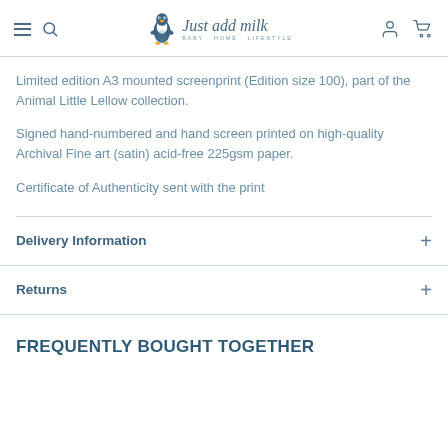Just add milk — Baby + Home + Lifestyle navigation header with hamburger menu, search, account, and cart icons
Limited edition A3 mounted screenprint (Edition size 100), part of the Animal Little Lellow collection.
Signed hand-numbered and hand screen printed on high-quality Archival Fine art (satin) acid-free 225gsm paper.
Certificate of Authenticity sent with the print
Delivery Information
Returns
FREQUENTLY BOUGHT TOGETHER